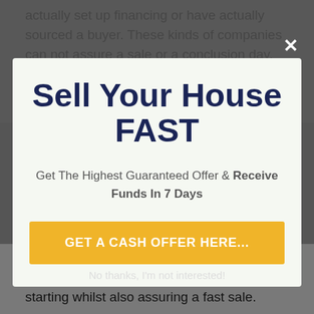actually set up financing or have actually sourced a buyer. These kinds of companies can not assure a sale or a conclusion day.
Sell Your House FAST
Get The Highest Guaranteed Offer & Receive Funds In 7 Days
GET A CASH OFFER HERE...
No thanks, I'm not interested!
provide you complete market value at the starting whilst also assuring a fast sale.